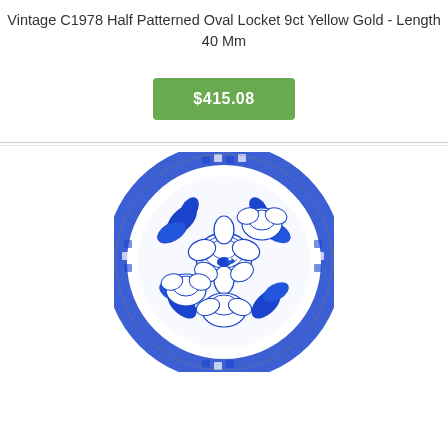Vintage C1978 Half Patterned Oval Locket 9ct Yellow Gold - Length 40 Mm
$415.08
[Figure (photo): Circular decorative plate with blue and white floral pattern featuring large peonies, birds, and geometric border design in Chinese porcelain style]